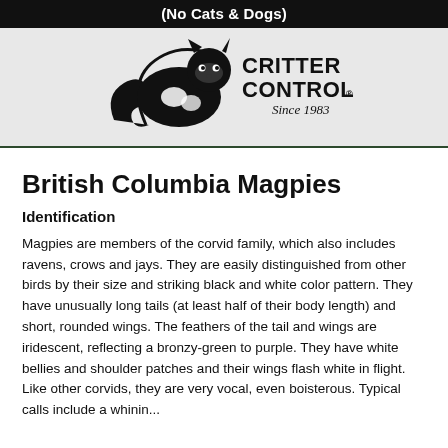(No Cats & Dogs)
[Figure (logo): Critter Control logo with raccoon graphic, text reading CRITTER CONTROL Since 1983]
British Columbia Magpies
Identification
Magpies are members of the corvid family, which also includes ravens, crows and jays. They are easily distinguished from other birds by their size and striking black and white color pattern. They have unusually long tails (at least half of their body length) and short, rounded wings. The feathers of the tail and wings are iridescent, reflecting a bronzy-green to purple. They have white bellies and shoulder patches and their wings flash white in flight. Like other corvids, they are very vocal, even boisterous. Typical calls include a whining...